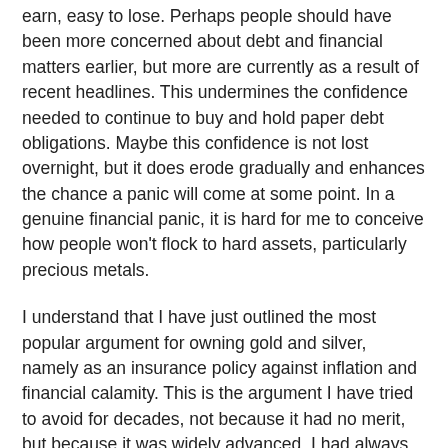earn, easy to lose. Perhaps people should have been more concerned about debt and financial matters earlier, but more are currently as a result of recent headlines. This undermines the confidence needed to continue to buy and hold paper debt obligations. Maybe this confidence is not lost overnight, but it does erode gradually and enhances the chance a panic will come at some point. In a genuine financial panic, it is hard for me to conceive how people won't flock to hard assets, particularly precious metals.
I understand that I have just outlined the most popular argument for owning gold and silver, namely as an insurance policy against inflation and financial calamity. This is the argument I have tried to avoid for decades, not because it had no merit, but because it was widely advanced. I had always considered the insurance argument as a bonus and not the central reason for owning silver. I still feel that way, but recent events have made me more sensitive to outside financial factors. It seems to me that as more people are exposed to daily reports of world debt struggles and political infighting in the US, more will become convinced of the wisdom of diversifying away from paper obligations and